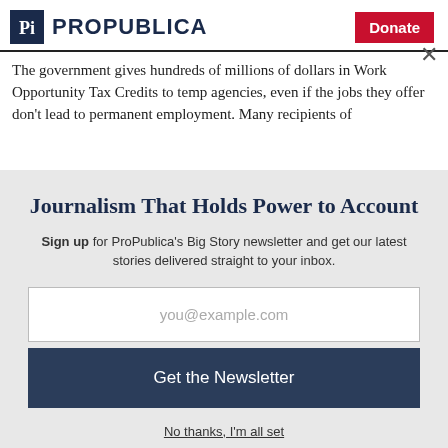ProPublica | Donate
The government gives hundreds of millions of dollars in Work Opportunity Tax Credits to temp agencies, even if the jobs they offer don't lead to permanent employment. Many recipients of
Journalism That Holds Power to Account
Sign up for ProPublica's Big Story newsletter and get our latest stories delivered straight to your inbox.
you@example.com
Get the Newsletter
No thanks, I'm all set
This site is protected by reCAPTCHA and the Google Privacy Policy and Terms of Service apply.